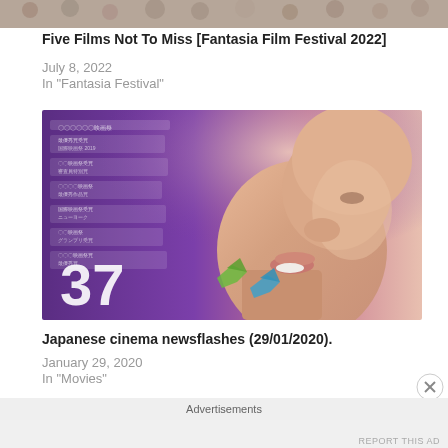[Figure (photo): Top strip of a crowded audience photo, partially cropped at top of page]
Five Films Not To Miss [Fantasia Film Festival 2022]
July 8, 2022
In "Fantasia Festival"
[Figure (photo): Movie poster for '37' showing a close-up profile of a person's face looking upward against a purple/violet background with Japanese text award laurels on the left side and the number 37 with colorful bird/butterfly shapes at the bottom]
Japanese cinema newsflashes (29/01/2020).
January 29, 2020
In "Movies"
Advertisements